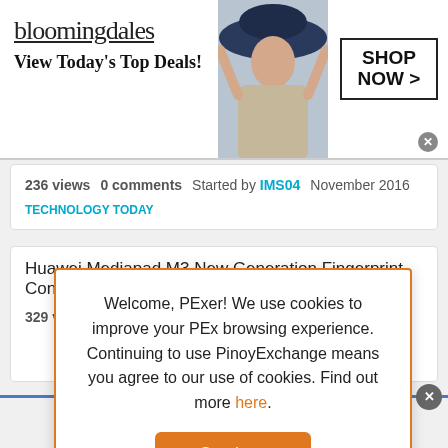[Figure (illustration): Bloomingdale's advertisement banner with logo, 'View Today's Top Deals!' tagline, a woman wearing a hat, and a 'SHOP NOW >' button]
236 views  0 comments  Started by IMS04  November 2016  TECHNOLOGY TODAY
Huawei Mediapad M3 New Generation Fingerprint Control
329 views  November 2016  TECHNOLOGY TODAY
Welcome, PExer! We use cookies to improve your PEx browsing experience. Continuing to use PinoyExchange means you agree to our use of cookies. Find out more here.
Continue